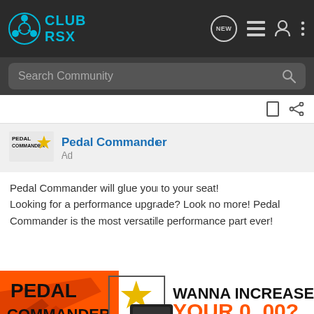CLUB RSX — navigation bar with search
Pedal Commander
Ad
Pedal Commander will glue you to your seat!
Looking for a performance upgrade? Look no more! Pedal Commander is the most versatile performance part ever!
[Figure (illustration): Pedal Commander advertisement banner showing logo with gold star, device image, and text 'WANNA INCREASE YOUR O_O?' with 'YOU WILL SMILE 100% WITH PEDAL COMMANDER' in orange text]